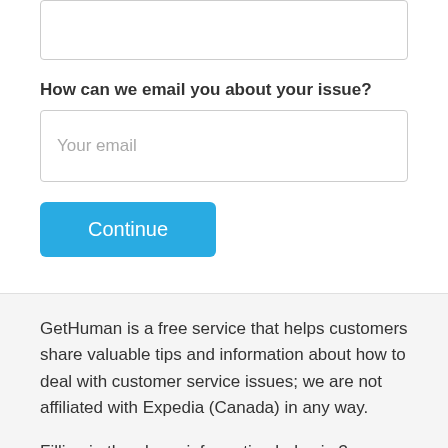[Figure (screenshot): A text area input box (empty) with border, shown partially at top of page]
How can we email you about your issue?
[Figure (screenshot): An email input field with placeholder text 'Your email']
[Figure (screenshot): A blue 'Continue' button]
GetHuman is a free service that helps customers share valuable tips and information about how to deal with customer service issues; we are not affiliated with Expedia (Canada) in any way.
Filling in the above information helps in 3 ways. First,